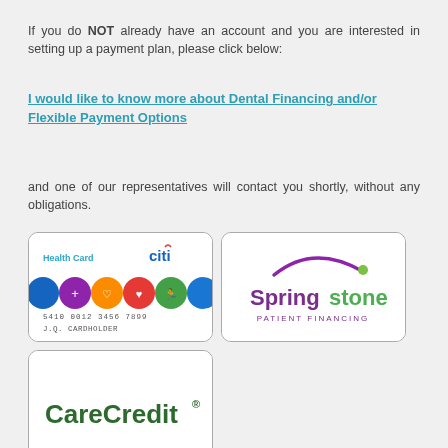If you do NOT already have an account and you are interested in setting up a payment plan, please click below:
I would like to know more about Dental Financing and/or Flexible Payment Options
and one of our representatives will contact you shortly, without any obligations.
[Figure (logo): Citi Health Card logo with colorful icons and card number 5410 0012 3456 7899, J.Q. CARDHOLDER]
[Figure (logo): Springstone Patient Financing logo with purple arc and green dot]
[Figure (logo): CareCredit logo in dark green bold text with registered trademark symbol]